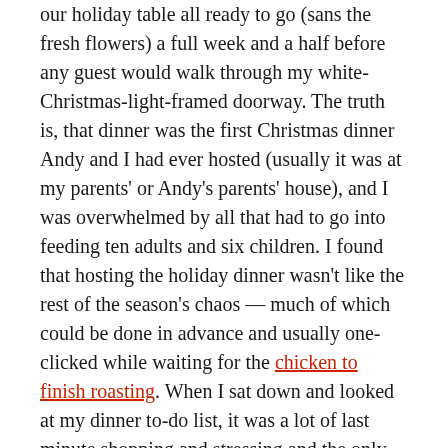our holiday table all ready to go (sans the fresh flowers) a full week and a half before any guest would walk through my white-Christmas-light-framed doorway. The truth is, that dinner was the first Christmas dinner Andy and I had ever hosted (usually it was at my parents' or Andy's parents' house), and I was overwhelmed by all that had to go into feeding ten adults and six children. I found that hosting the holiday dinner wasn't like the rest of the season's chaos — much of which could be done in advance and usually one-clicked while waiting for the chicken to finish roasting. When I sat down and looked at my dinner to-do list, it was a lot of last minute shopping and stressing and the only thing I could think of to do to feel more in control was...set the table.
It felt so good to have that part of the event under control that now I do it before almost any occasion that merits the Dining Room Table treatment. Phoebe's